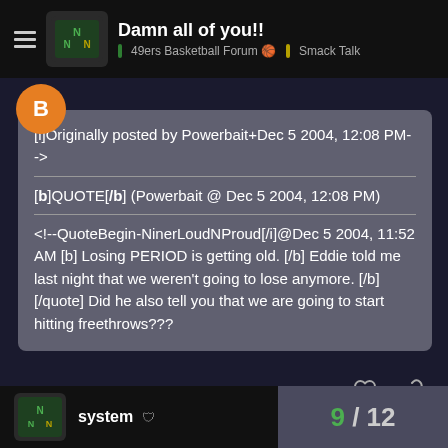Damn all of you!! | 49ers Basketball Forum | Smack Talk
[i]Originally posted by Powerbait+Dec 5 2004, 12:08 PM-->
[b]QUOTE[/b] (Powerbait @ Dec 5 2004, 12:08 PM)
<!--QuoteBegin-NinerLoudNProud[/i]@Dec 5 2004, 11:52 AM [b] Losing PERIOD is getting old. [/b] Eddie told me last night that we weren't going to lose anymore. [/b][/quote] Did he also tell you that we are going to start hitting freethrows???
system | 9 / 12